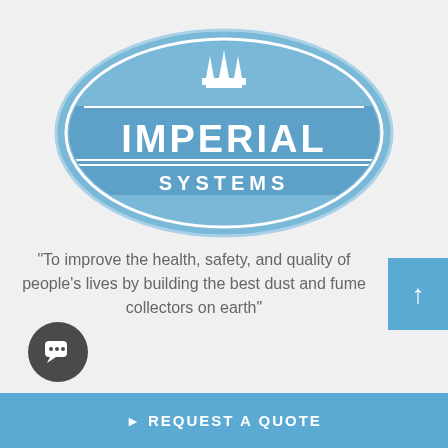[Figure (logo): Imperial Systems oval logo in steel blue with white crown icon at top, 'IMPERIAL' in large letters across the center band, and 'SYSTEMS' in smaller letters on a darker band below, all enclosed in an oval border]
“To improve the health, safety, and quality of people’s lives by building the best dust and fume collectors on earth”
REQUEST A QUOTE